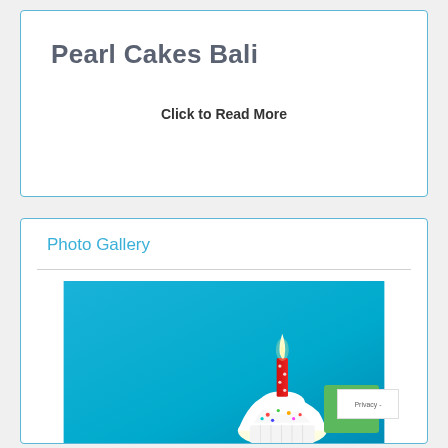Pearl Cakes Bali
Click to Read More
Photo Gallery
[Figure (photo): A birthday cupcake with a lit red candle against a blue background, with cream frosting and colorful sprinkles]
Post a Job
Privacy -